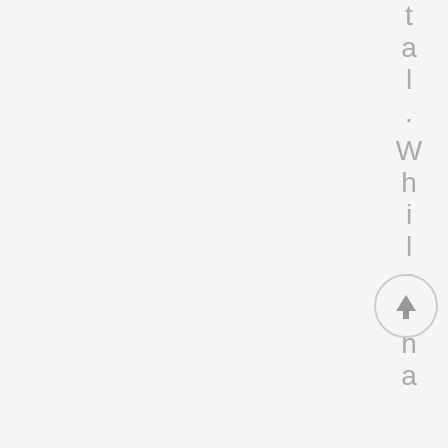tal. Whilethatiis
[Figure (other): A circular scroll-to-top button with an upward arrow icon, light gray border on a light gray background]